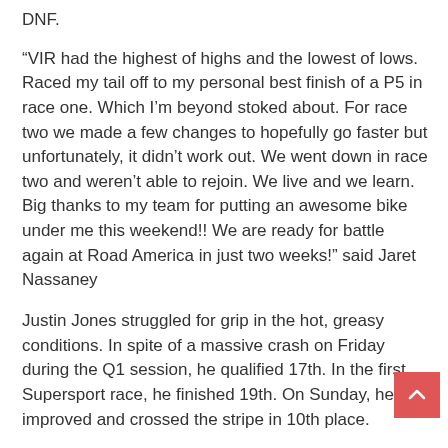DNF.
“VIR had the highest of highs and the lowest of lows. Raced my tail off to my personal best finish of a P5 in race one. Which I’m beyond stoked about. For race two we made a few changes to hopefully go faster but unfortunately, it didn’t work out. We went down in race two and weren’t able to rejoin. We live and we learn. Big thanks to my team for putting an awesome bike under me this weekend!! We are ready for battle again at Road America in just two weeks!” said Jaret Nassaney
Justin Jones struggled for grip in the hot, greasy conditions. In spite of a massive crash on Friday during the Q1 session, he qualified 17th. In the first Supersport race, he finished 19th. On Sunday, he improved and crossed the stripe in 10th place.
“It was a pretty frustrating weekend. I came to VIR confident. It’s a track I’ve gone fast at in the past and expected to be solidly in the top 10. Friday and Saturday we could not find a setup that worked. For the race on Sunday...